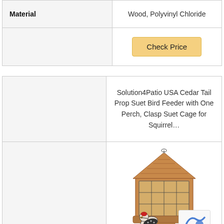| Material | Wood, Polyvinyl Chloride |
|  | Check Price |
|  | Solution4Patio USA Cedar Tail Prop Suet Bird Feeder with One Perch, Clasp Suet Cage for Squirrel… |
|  | [bird feeder product image] |